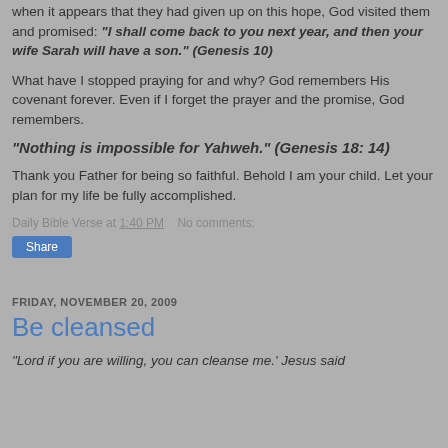when it appears that they had given up on this hope, God visited them and promised: "I shall come back to you next year, and then your wife Sarah will have a son." (Genesis 10)
What have I stopped praying for and why? God remembers His covenant forever. Even if I forget the prayer and the promise, God remembers.
"Nothing is impossible for Yahweh." (Genesis 18: 14)
Thank you Father for being so faithful. Behold I am your child. Let your plan for my life be fully accomplished.
Daily Bible Verse at 1:40 PM   No comments:
FRIDAY, NOVEMBER 20, 2009
Be cleansed
"Lord if you are willing, you can cleanse me.' Jesus said